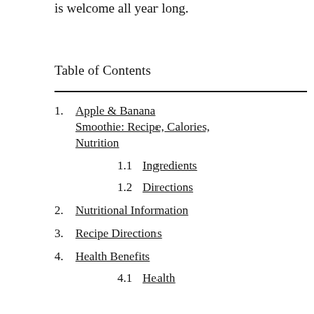is welcome all year long.
Table of Contents
1. Apple & Banana Smoothie: Recipe, Calories, Nutrition
1.1 Ingredients
1.2 Directions
2. Nutritional Information
3. Recipe Directions
4. Health Benefits
4.1 Health